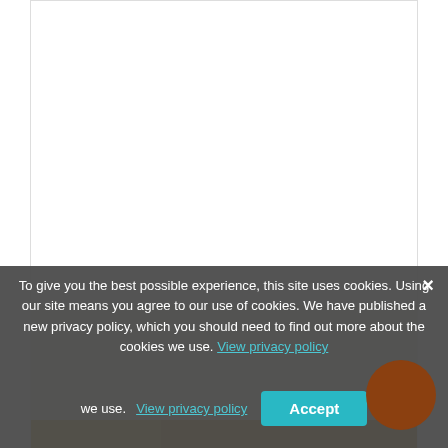Cadmium Yellow Light
€6.12
To give you the best possible experience, this site uses cookies. Using our site means you agree to our use of cookies. We have published a new privacy policy, which you should need to find out more about the cookies we use. View privacy policy
Accept